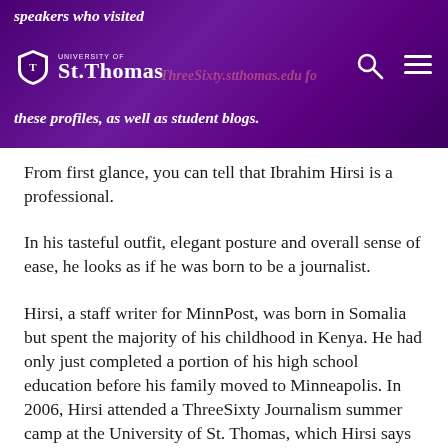speakers who visited — check ThreeSixty.stthomas.edu for more — these profiles, as well as student blogs.
From first glance, you can tell that Ibrahim Hirsi is a professional.
In his tasteful outfit, elegant posture and overall sense of ease, he looks as if he was born to be a journalist.
Hirsi, a staff writer for MinnPost, was born in Somalia but spent the majority of his childhood in Kenya. He had only just completed a portion of his high school education before his family moved to Minneapolis. In 2006, Hirsi attended a ThreeSixty Journalism summer camp at the University of St. Thomas, which Hirsi says sparked his interest in telling stories and writing. Hirsi furthered his education by attending